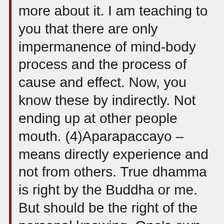more about it. I am teaching to you that there are only impermanence of mind-body process and the process of cause and effect. Now, you know these by indirectly. Not ending up at other people mouth. (4)Aparapaccayo – means directly experience and not from others. True dhamma is right by the Buddha or me. But should be the right of the personal knowing. One's own decision is more important. With other saying is ending up at perception(saññā) and not wisdom(paññā). If a person equal to these 4-points is stable in the Buddha's Teaching.